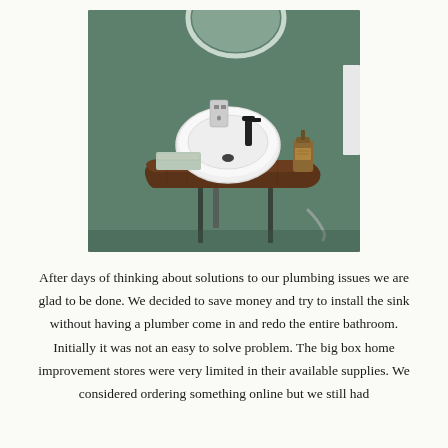[Figure (photo): A bathroom vanity with a white oval vessel sink mounted on a dark walnut live-edge wooden shelf, with a matte black faucet, a folded gray towel, a soap dispenser, and a round mirror visible in the upper portion. Walls are sage green.]
After days of thinking about solutions to our plumbing issues we are glad to be done. We decided to save money and try to install the sink without having a plumber come in and redo the entire bathroom. Initially it was not an easy to solve problem. The big box home improvement stores were very limited in their available supplies. We considered ordering something online but we still had